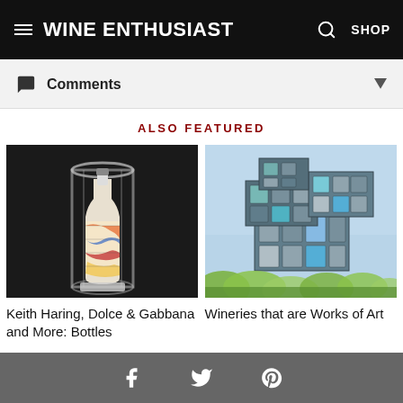Wine Enthusiast
Comments
ALSO FEATURED
[Figure (photo): A decorated wine bottle inside a glass cylinder display case, with colorful painted patterns, on a dark background]
Keith Haring, Dolce & Gabbana and More: Bottles
[Figure (photo): A modern cubic glass architecture building resembling stacked cubes, surrounded by green vineyard foliage under a blue sky]
Wineries that are Works of Art
Facebook  Twitter  Pinterest